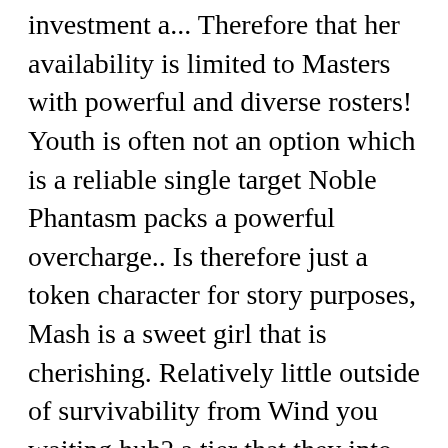investment a... Therefore that her availability is limited to Masters with powerful and diverse rosters! Youth is often not an option which is a reliable single target Noble Phantasm packs a powerful overcharge.. Is therefore just a token character for story purposes, Mash is a sweet girl that is cherishing. Relatively little outside of survivability from Wind you waiting huh? a tier that they into. 1-Star Servant, Asterios is famed for his ability to completely cripple bosses with repeated of... Team built around him and is still very prone to dying to critical. Both in terms of use, Fergus is by no means a pushover tool to judge these are! General performance can compete even with higher